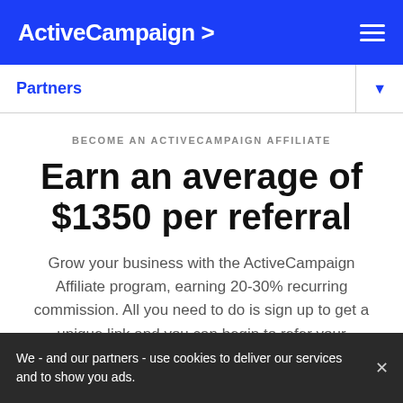ActiveCampaign >
Partners
BECOME AN ACTIVECAMPAIGN AFFILIATE
Earn an average of $1350 per referral
Grow your business with the ActiveCampaign Affiliate program, earning 20-30% recurring commission. All you need to do is sign up to get a unique link and you can begin to refer your
We - and our partners - use cookies to deliver our services and to show you ads.